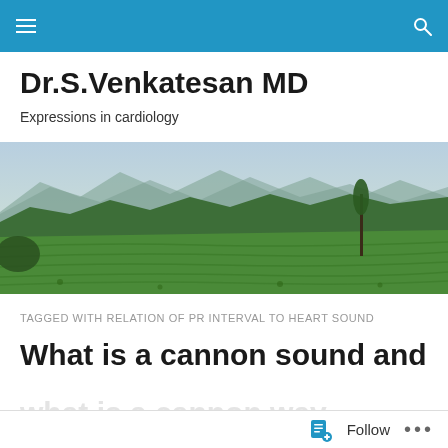Dr.S.Venkatesan MD — navigation bar
Dr.S.Venkatesan MD
Expressions in cardiology
[Figure (photo): Panoramic landscape photograph of green terraced tea gardens on rolling hills with mountains and a tree in the background under a hazy sky.]
TAGGED WITH RELATION OF PR INTERVAL TO HEART SOUND
What is a cannon sound and
Follow ...